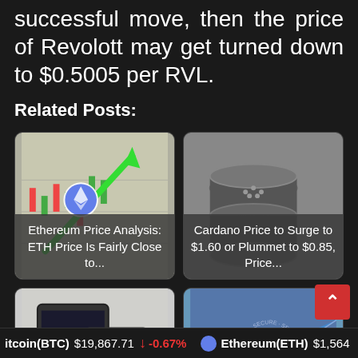successful move, then the price of Revolott may get turned down to $0.5005 per RVL.
Related Posts:
[Figure (photo): Ethereum price chart with green arrow and ETH logo overlay, card showing 'Ethereum Price Analysis: ETH Price Is Fairly Close to...']
[Figure (photo): Cardano coins in grayscale, card showing 'Cardano Price to Surge to $1.60 or Plummet to $0.85, Price...']
[Figure (photo): Tablet with price charts, card showing 'Price Analysis of UNI, ALGO, and']
[Figure (photo): Cardano ADA coin blue chart background, card showing 'Price of Cardano to Dive Down to']
itcoin(BTC)  $19,867.71  ↓ -0.67%    Ethereum(ETH)  $1,564